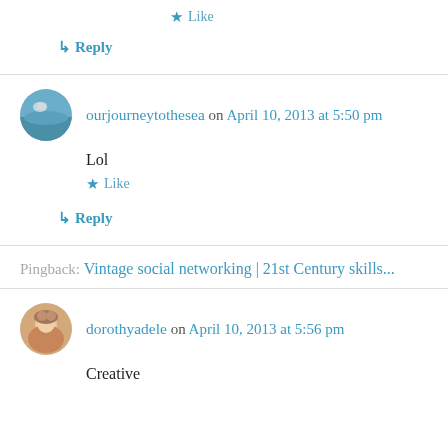★ Like
↳ Reply
ourjourneytothesea on April 10, 2013 at 5:50 pm
Lol
★ Like
↳ Reply
Pingback: Vintage social networking | 21st Century skills...
dorothyadele on April 10, 2013 at 5:56 pm
Creative